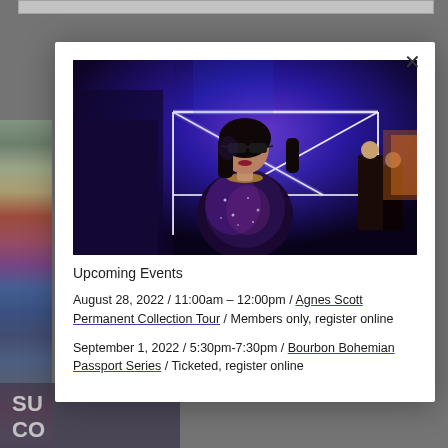[Figure (photo): Screenshot of a museum/gallery website showing a modal popup over a background page. Background has a colorful vertical image strip on the left and partially visible bold white text on a dark purple overlay at bottom left reading 'SU CO'. The modal contains a photo of a woman in sunglasses and sequined outfit at a neon-lit event, followed by event listing text.]
Upcoming Events
August 28, 2022 / 11:00am – 12:00pm / Agnes Scott Permanent Collection Tour / Members only, register online
September 1, 2022 / 5:30pm-7:30pm / Bourbon Bohemian Passport Series / Ticketed, register online